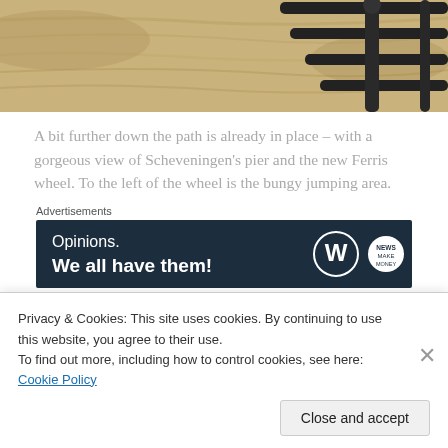[Figure (photo): Top portion of a photo showing sandy ground or beach with black metal fence/railing running diagonally across the frame.]
A bit further down the path is already in place – with a gorgeous view of Scheveningen's pier and the new Ferris wheel. To the left of the wheel is the bungy jumping area.
Advertisements
[Figure (screenshot): WordPress advertisement banner with dark navy background. Text reads 'Opinions. We all have them!' with WordPress logo (W) and a circular news badge on the right.]
Marco and I first walked in the other direction, towards the haven. We took a lovely picture of Keizerstraat. Some call
Privacy & Cookies: This site uses cookies. By continuing to use this website, you agree to their use.
To find out more, including how to control cookies, see here: Cookie Policy